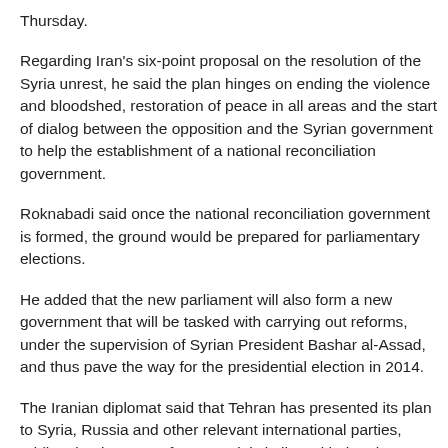Thursday.
Regarding Iran's six-point proposal on the resolution of the Syria unrest, he said the plan hinges on ending the violence and bloodshed, restoration of peace in all areas and the start of dialog between the opposition and the Syrian government to help the establishment of a national reconciliation government.
Roknabadi said once the national reconciliation government is formed, the ground would be prepared for parliamentary elections.
He added that the new parliament will also form a new government that will be tasked with carrying out reforms, under the supervision of Syrian President Bashar al-Assad, and thus pave the way for the presidential election in 2014.
The Iranian diplomat said that Tehran has presented its plan to Syria, Russia and other relevant international parties, adding that in terms of content, it is in line with the plan introduced by the UN-Arab League envoy to Syria Lakhdar Brahimi.